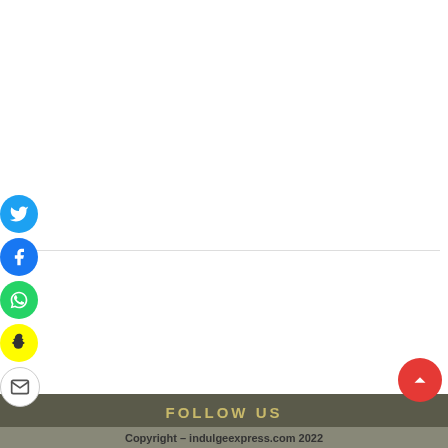[Figure (infographic): Social share icon buttons on left side: Twitter (blue), Facebook (blue), WhatsApp (green), Snapchat (yellow), Email (white/grey border)]
FOLLOW US
Copyright - indulgeexpress.com 2022